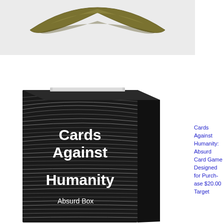[Figure (photo): Close-up product photo of an olive/dark gold colored curved object (possibly a boomerang or decorative piece) on a light gray/white background, partially cropped at top.]
[Figure (photo): Product photo of Cards Against Humanity: Absurd Box card game box. Black box with wavy moiré pattern, white text reading 'Cards Against Humanity' and 'Absurd Box'.]
Cards Against Humanity: Absurd Card Game Designed for Purchase $20.00 Target